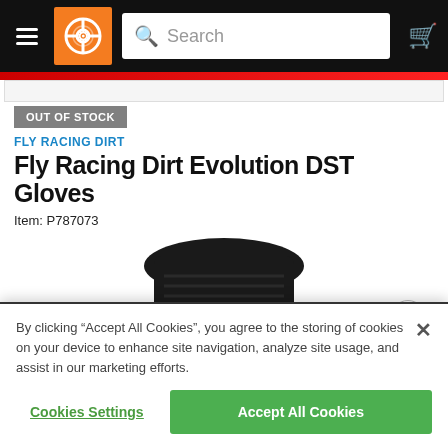Navigation bar with hamburger menu, Cycle Gear logo, search bar, and cart icon
OUT OF STOCK
FLY RACING DIRT
Fly Racing Dirt Evolution DST Gloves
Item: P787073
[Figure (photo): Black motorcycle gloves product photo, partially visible, showing textured black glove]
By clicking “Accept All Cookies”, you agree to the storing of cookies on your device to enhance site navigation, analyze site usage, and assist in our marketing efforts.
Cookies Settings
Accept All Cookies